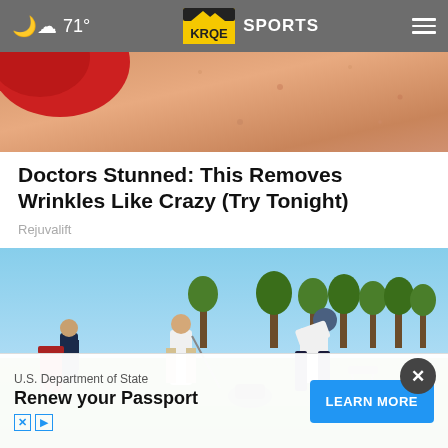71° KRQE SPORTS
[Figure (photo): Close-up photo of skin texture with a red object visible on the left side, used as advertisement image]
Doctors Stunned: This Removes Wrinkles Like Crazy (Try Tonight)
Rejuvalift
[Figure (photo): Outdoor golf course photo showing several people on a green fairway. One person in white shirt and dark pants is bent over near golf equipment. Others stand in background watching. Trees visible in background under bright sunny sky.]
U.S. Department of State
Renew your Passport
LEARN MORE